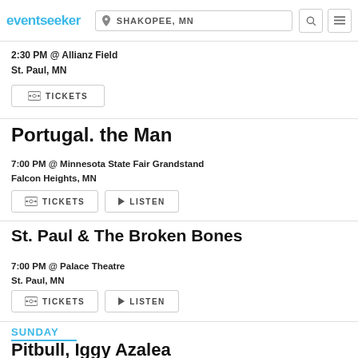eventseeker | SHAKOPEE, MN
2:30 PM @ Allianz Field
St. Paul, MN
TICKETS
Portugal. the Man
7:00 PM @ Minnesota State Fair Grandstand
Falcon Heights, MN
TICKETS | LISTEN
St. Paul & The Broken Bones
7:00 PM @ Palace Theatre
St. Paul, MN
TICKETS | LISTEN
SUNDAY
Pitbull, Iggy Azalea